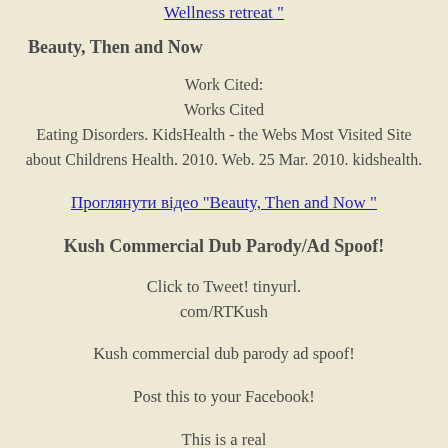Wellness retreat "
Beauty, Then and Now
Work Cited:
Works Cited
Eating Disorders. KidsHealth - the Webs Most Visited Site about Childrens Health. 2010. Web. 25 Mar. 2010. kidshealth.
Проглянути відео "Beauty, Then and Now "
Kush Commercial Dub Parody/Ad Spoof!
Click to Tweet! tinyurl.com/RTKush
Kush commercial dub parody ad spoof!
Post this to your Facebook!
This is a real